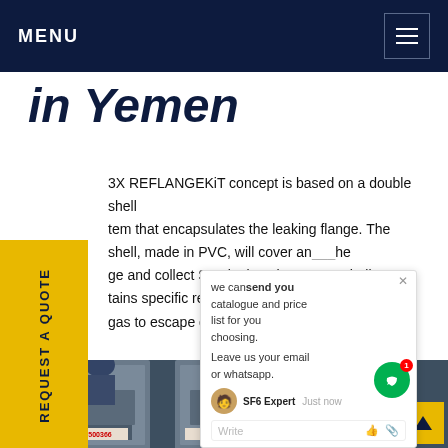MENU
in Yemen
3X REFLANGEKiT concept is based on a double shell tem that encapsulates the leaking flange. The shell, made in PVC, will cover an ge and collect SF6 leaks. The se hell tains specific resins. An exhaust t gas to escape during resin inject e
[Figure (screenshot): Chat popup with SF6 Expert offering to send catalogue and price list, with avatar and write bar]
[Figure (photo): Workers in industrial setting with electrical cabinets numbered 500366 and 500367, one worker wearing blue hard hat]